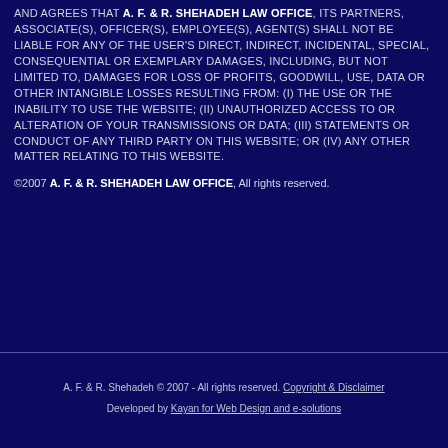AND AGREES THAT A. F. & R. SHEHADEH LAW OFFICE, ITS PARTNERS, ASSOCIATE(S), OFFICER(S), EMPLOYEE(S), AGENT(S) SHALL NOT BE LIABLE FOR ANY OF THE USER'S DIRECT, INDIRECT, INCIDENTAL, SPECIAL, CONSEQUENTIAL OR EXEMPLARY DAMAGES, INCLUDING, BUT NOT LIMITED TO, DAMAGES FOR LOSS OF PROFITS, GOODWILL, USE, DATA OR OTHER INTANGIBLE LOSSES RESULTING FROM: (i) THE USE OR THE INABILITY TO USE THE WEBSITE; (ii) UNAUTHORIZED ACCESS TO OR ALTERATION OF YOUR TRANSMISSIONS OR DATA; (iii) STATEMENTS OR CONDUCT OF ANY THIRD PARTY ON THIS WEBSITE; OR (iv) ANY OTHER MATTER RELATING TO THIS WEBSITE.
©2007 A. F. & R. SHEHADEH LAW OFFICE, All rights reserved.
A. F. & R. Shehadeh © 2007 - All rights reserved. Copyright & Disclaimer
Developed by Kayan for Web Design and e-solutions